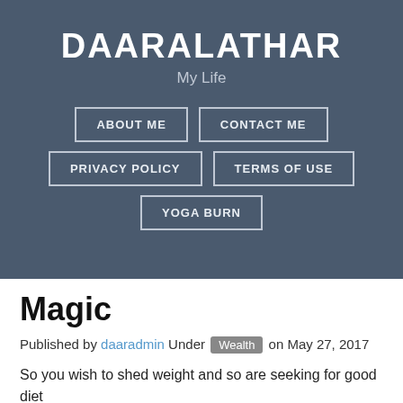DAARALATHAR
My Life
ABOUT ME
CONTACT ME
PRIVACY POLICY
TERMS OF USE
YOGA BURN
Magic
Published by daaradmin Under Wealth on May 27, 2017
So you wish to shed weight and so are seeking for good diet